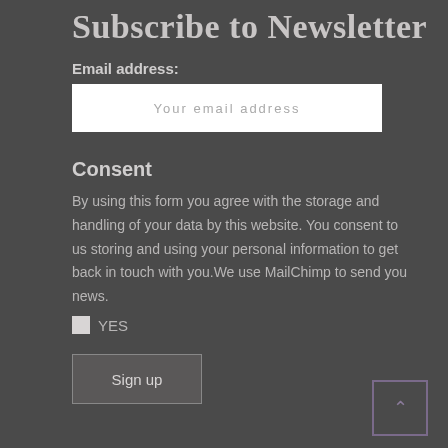Subscribe to Newsletter
Email address:
Your email address
Consent
By using this form you agree with the storage and handling of your data by this website. You consent to us storing and using your personal information to get back in touch with you.We use MailChimp to send you news.
YES
Sign up